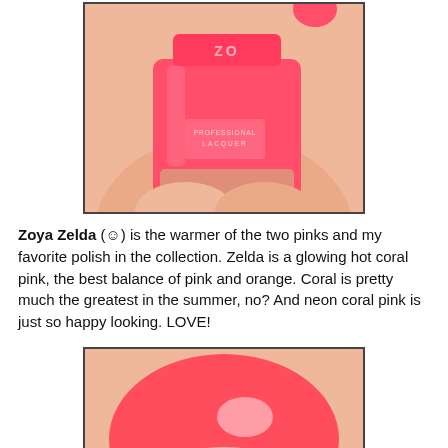[Figure (photo): Close-up photo of a Zoya Professional Lacquer nail polish bottle in a vivid coral/hot pink color, held in a hand with one nail painted the same coral pink color. The bottle label reads PROFESSIONAL LACQUER and the cap shows ZOYA branding.]
Zoya Zelda (☺) is the warmer of the two pinks and my favorite polish in the collection. Zelda is a glowing hot coral pink, the best balance of pink and orange. Coral is pretty much the greatest in the summer, no? And neon coral pink is just so happy looking. LOVE!
[Figure (photo): Close-up macro photo of a fingernail painted with Zoya Zelda nail polish, showing a vivid neon coral pink color with a shiny finish against bare skin.]